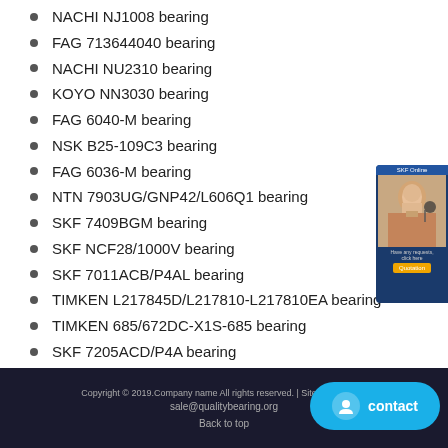NACHI NJ1008 bearing
FAG 713644040 bearing
NACHI NU2310 bearing
KOYO NN3030 bearing
FAG 6040-M bearing
NSK B25-109C3 bearing
FAG 6036-M bearing
NTN 7903UG/GNP42/L606Q1 bearing
SKF 7409BGM bearing
SKF NCF28/1000V bearing
SKF 7011ACB/P4AL bearing
TIMKEN L217845D/L217810-L217810EA bearing
TIMKEN 685/672DC-X1S-685 bearing
SKF 7205ACD/P4A bearing
SKF BAH0068D bearing
SKF N212ECP bearing
SKF 332330B/Q bearing
[Figure (photo): Customer service representative banner on right side]
Copyright © 2019.Company name All rights reserved. | Sitemap | sale@qualitybearing.org
Back to top